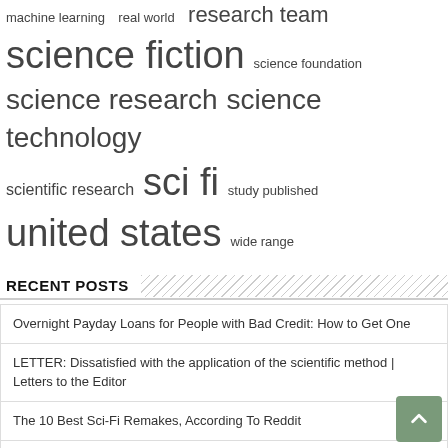[Figure (infographic): Word cloud with terms of varying sizes: 'machine learning', 'real world', 'research team', 'science fiction', 'science foundation', 'science research', 'science technology', 'scientific research', 'sci fi', 'study published', 'united states', 'wide range']
RECENT POSTS
Overnight Payday Loans for People with Bad Credit: How to Get One
LETTER: Dissatisfied with the application of the scientific method | Letters to the Editor
The 10 Best Sci-Fi Remakes, According To Reddit
Scientific News | Research: Using a new cell delivery method to help cells adhere
New all-optical switching method makes optical computing and communication systems more energy efficient